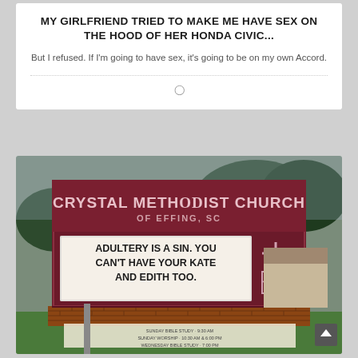MY GIRLFRIEND TRIED TO MAKE ME HAVE SEX ON THE HOOD OF HER HONDA CIVIC...
But I refused. If I'm going to have sex, it's going to be on my own Accord.
[Figure (photo): Photo of a church sign reading 'CRYSTAL METHODIST CHURCH OF EFFING, SC' with marquee text 'ADULTERY IS A SIN. YOU CAN'T HAVE YOUR KATE AND EDITH TOO.' and smaller text below listing Sunday Bible Study, Sunday Worship, Wednesday Bible Study times.]